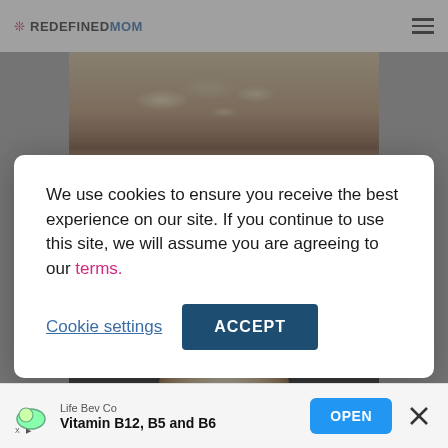REDEFINEDMOM
[Figure (photo): Sliced loaf of bread showing interior crumb texture, viewed from the side on a light surface]
We use cookies to ensure you receive the best experience on our site. If you continue to use this site, we will assume you are agreeing to our terms.
Cookie settings   ACCEPT
[Figure (photo): Whole round bread roll on a dark background]
Life Bev Co
Vitamin B12, B5 and B6
OPEN